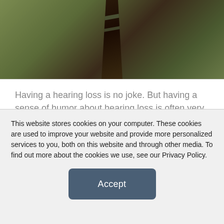[Figure (photo): Top portion of a photo showing a person wearing a striped tie against a green/olive background, cropped to show only the torso/neck area.]
Having a hearing loss is no joke. But having a sense of humor about hearing loss is often very helpful. Similarly, being able to laugh about our profession can provide relief from what is sometimes an overwhelming, albeit satisfying, occupation.
Recently, the editors of hearinghealthmatters.org
This website stores cookies on your computer. These cookies are used to improve your website and provide more personalized services to you, both on this website and through other media. To find out more about the cookies we use, see our Privacy Policy.
Accept